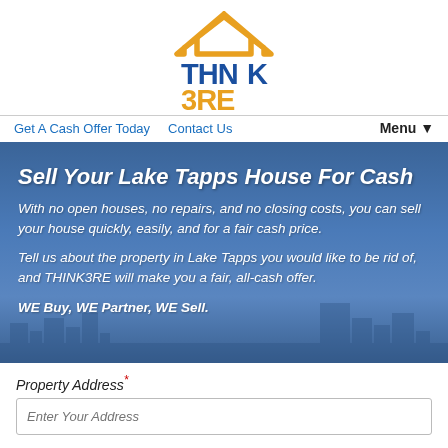[Figure (logo): THNK3RE logo with orange house roof icon above blue and orange styled text reading THNK3RE]
Get A Cash Offer Today   Contact Us   Menu▼
Sell Your Lake Tapps House For Cash
With no open houses, no repairs, and no closing costs, you can sell your house quickly, easily, and for a fair cash price.
Tell us about the property in Lake Tapps you would like to be rid of, and THINK3RE will make you a fair, all-cash offer.
WE Buy, WE Partner, WE Sell.
Property Address *
Enter Your Address